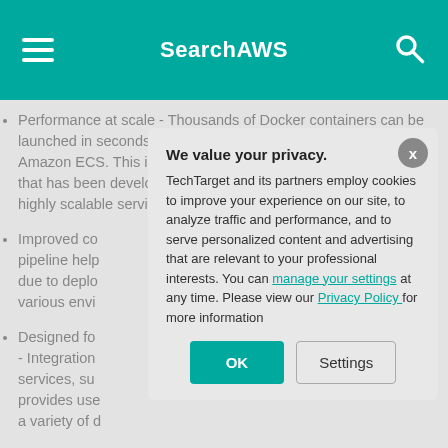SearchAWS
Performance at scale - Thousands of Docker containers can be launched in seconds without any additional complexity using Amazon ECS. This is because the service is built on technology that has been developed from years of experiences running highly scalable services.
Improved co... pipeline help... due to deplo... various envi...
Designed fo... - Integration... services, su... provides use... a variety of d...
Manageable... managemen... clusters is u... Since there i... manage, de... container-ba...
We value your privacy. TechTarget and its partners employ cookies to improve your experience on our site, to analyze traffic and performance, and to serve personalized content and advertising that are relevant to your professional interests. You can manage your settings at any time. Please view our Privacy Policy for more information